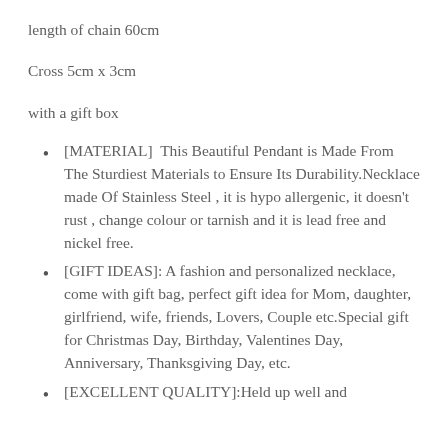length of chain 60cm
Cross 5cm x 3cm
with a gift box
[MATERIAL]  This Beautiful Pendant is Made From The Sturdiest Materials to Ensure Its Durability.Necklace made Of Stainless Steel , it is hypo allergenic, it doesn't rust , change colour or tarnish and it is lead free and nickel free.
[GIFT IDEAS]: A fashion and personalized necklace, come with gift bag, perfect gift idea for Mom, daughter, girlfriend, wife, friends, Lovers, Couple etc.Special gift for Christmas Day, Birthday, Valentines Day, Anniversary, Thanksgiving Day, etc.
[EXCELLENT QUALITY]:Held up well and